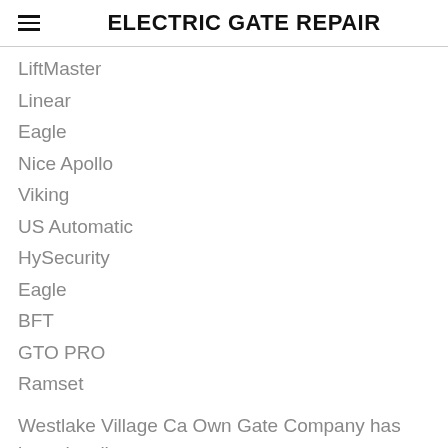ELECTRIC GATE REPAIR
LiftMaster
Linear
Eagle
Nice Apollo
Viking
US Automatic
HySecurity
Eagle
BFT
GTO PRO
Ramset
Westlake Village Ca Own Gate Company has been locally owned and operated from the very beginning. Whether you need an existing gate fixed, security gate repair or are in the market for a